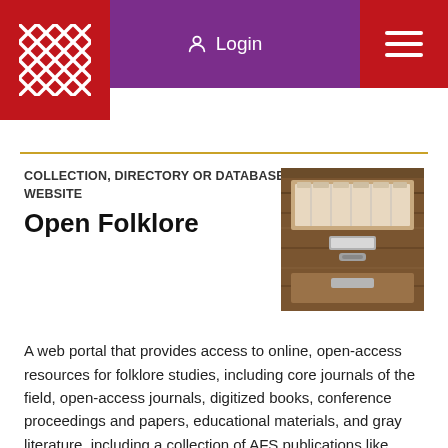Login
[Figure (logo): Woven/lattice pattern logo in white on red background]
COLLECTION, DIRECTORY OR DATABASE, WEBSITE
Open Folklore
[Figure (photo): Photograph of a wooden card catalog drawer open with metal index cards]
A web portal that provides access to online, open-access resources for folklore studies, including core journals of the field, open-access journals, digitized books, conference proceedings and papers, educational materials, and gray literature, including a collection of AFS publications like annual programs.
Learn more